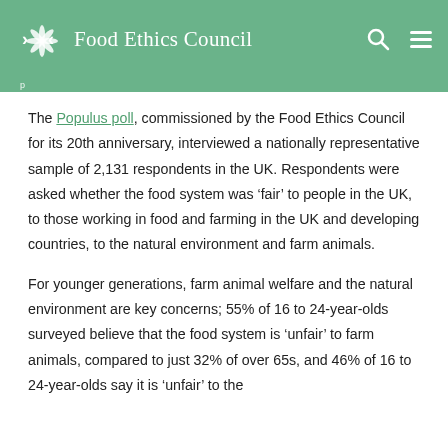Food Ethics Council
The Populus poll, commissioned by the Food Ethics Council for its 20th anniversary, interviewed a nationally representative sample of 2,131 respondents in the UK. Respondents were asked whether the food system was ‘fair’ to people in the UK, to those working in food and farming in the UK and developing countries, to the natural environment and farm animals.
For younger generations, farm animal welfare and the natural environment are key concerns; 55% of 16 to 24-year-olds surveyed believe that the food system is ‘unfair’ to farm animals, compared to just 32% of over 65s, and 46% of 16 to 24-year-olds say it is ‘unfair’ to the